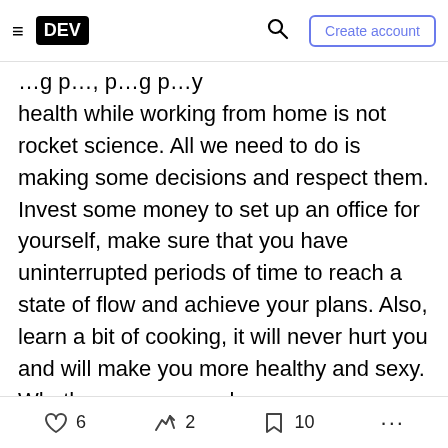DEV | Create account
…g p…, p…g p…y health while working from home is not rocket science. All we need to do is making some decisions and respect them. Invest some money to set up an office for yourself, make sure that you have uninterrupted periods of time to reach a state of flow and achieve your plans. Also, learn a bit of cooking, it will never hurt you and will make you more healthy and sexy. Whether you are a gal or a guy.
How do you keep being productive from home? Let me know in the comments section.
Connect deeper
6  2  10  ...